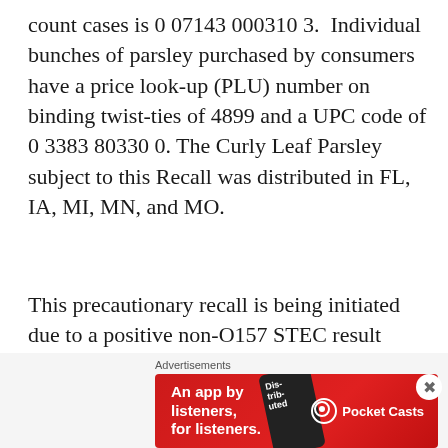count cases is 0 07143 000310 3. Individual bunches of parsley purchased by consumers have a price look-up (PLU) number on binding twist-ties of 4899 and a UPC code of 0 3383 80330 0. The Curly Leaf Parsley subject to this Recall was distributed in FL, IA, MI, MN, and MO.
This precautionary recall is being initiated due to a positive non-O157 STEC result found on a single sample collected by the Michigan Department of Agriculture during routine random sampling.
[Figure (other): Advertisement banner: Pocket Casts app ad with red background, text 'An app by listeners, for listeners.' and Pocket Casts logo, with a phone image showing 'Dis-trib-uted']